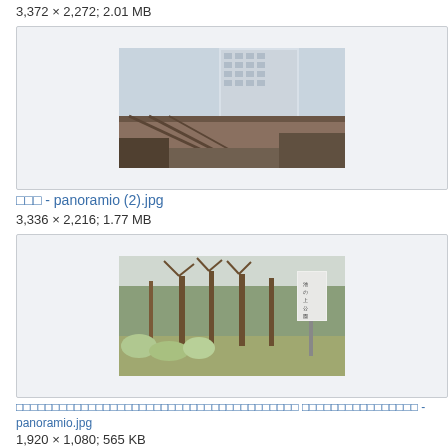3,372 × 2,272; 2.01 MB
[Figure (photo): Photo of a Japanese train station area with elevated tracks and a tall building in the background]
□□□ - panoramio (2).jpg
3,336 × 2,216; 1.77 MB
[Figure (photo): Photo of a park with trees and a sign post, appears to be a Japanese public park]
□□□□□□□□□□□□□□□□□□□□□□□□□□□□□□□□□□□□□□□ □□□□□□□□□□□□□□□□ - panoramio.jpg
1,920 × 1,080; 565 KB